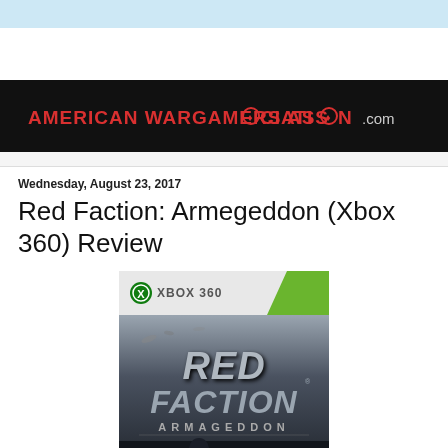[Figure (logo): American Wargamers Association .com banner logo on black background with red text]
Wednesday, August 23, 2017
Red Faction: Armegeddon (Xbox 360) Review
[Figure (photo): Xbox 360 game box art for Red Faction: Armageddon showing the game title in large stylized letters with ARMAGEDDON subtitle below, character figure at bottom, on dark background with Xbox 360 branding at top]